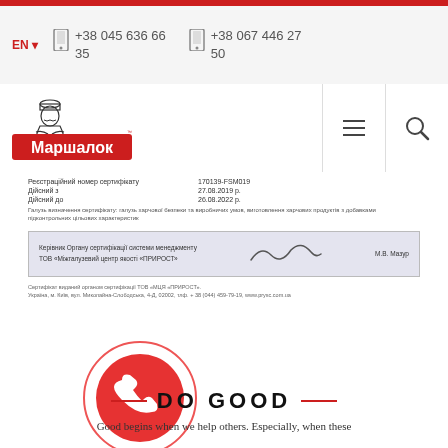+38 045 636 66 35  |  +38 067 446 27 50
[Figure (logo): Маршалок brand logo with chef character]
[Figure (other): Certificate document showing registration number 170139-FSM019, valid from 27.08.2019 to 26.08.2022, with signature band from TOB Marshaling center quality PRYROST, signed M.B. Mazur]
[Figure (other): Red circle phone/call icon]
DO GOOD
Good begins when we help others. Especially, when these